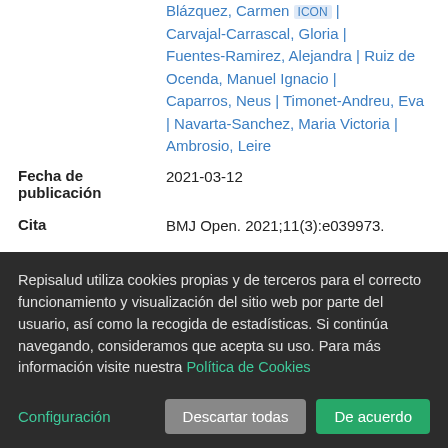Blázquez, Carmen [ICON] | Carvajal-Carrascal, Gloria | Fuentes-Ramirez, Alejandra | Ruiz de Ocenda, Manuel Ignacio | Caparros, Neus | Timonet-Andreu, Eva | Navarta-Sanchez, Maria Victoria | Ambrosio, Leire
Fecha de publicación: 2021-03-12
Cita: BMJ Open. 2021;11(3):e039973.
Idioma: Inglés
Resumen: Objectives To validate the Living with Chronic Illness (LWCI) Scale
Repisalud utiliza cookies propias y de terceros para el correcto funcionamiento y visualización del sitio web por parte del usuario, así como la recogida de estadísticas. Si continúa navegando, consideramos que acepta su uso. Para más información visite nuestra Política de Cookies
Configuración | Descartar todas | De acuerdo